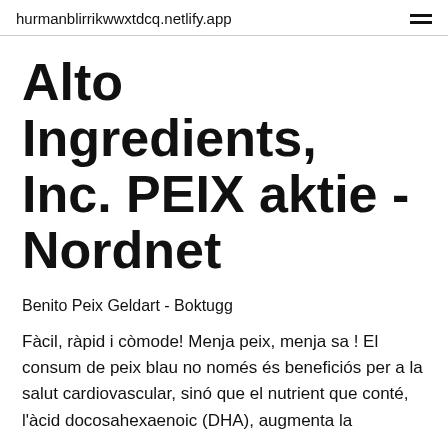hurmanblirrikwwxtdcq.netlify.app
Alto Ingredients, Inc. PEIX aktie - Nordnet
Benito Peix Geldart - Boktugg
Fàcil, ràpid i còmode! Menja peix, menja sa ! El consum de peix blau no només és beneficiós per a la salut cardiovascular, sinó que el nutrient que conté, l'àcid docosahexaenoic (DHA), augmenta la